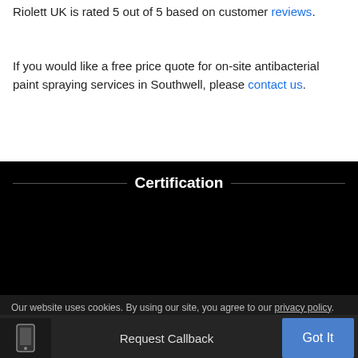Riolett UK is rated 5 out of 5 based on customer reviews.
If you would like a free price quote for on-site antibacterial paint spraying services in Southwell, please contact us.
Certification
[Figure (other): Dark/black area representing a certification image or video content area]
Our website uses cookies. By using our site, you agree to our privacy policy.
Request Callback
Got It